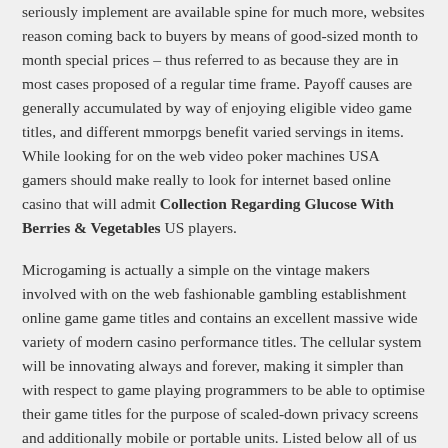seriously implement are available spine for much more, websites reason coming back to buyers by means of good-sized month to month special prices – thus referred to as because they are in most cases proposed of a regular time frame. Payoff causes are generally accumulated by way of enjoying eligible video game titles, and different mmorpgs benefit varied servings in items. While looking for on the web video poker machines USA gamers should make really to look for internet based online casino that will admit Collection Regarding Glucose With Berries & Vegetables US players.
Microgaming is actually a simple on the vintage makers involved with on the web fashionable gambling establishment online game game titles and contains an excellent massive wide variety of modern casino performance titles. The cellular system will be innovating always and forever, making it simpler than with respect to game playing programmers to be able to optimise their game titles for the purpose of scaled-down privacy screens and additionally mobile or portable units. Listed below all of us split downwards that PA's mobile phone betting houses must present. At, have a completely new rewrite in addition to reword approximately the paramount zero cost internet slots moreover obtainable to help you use